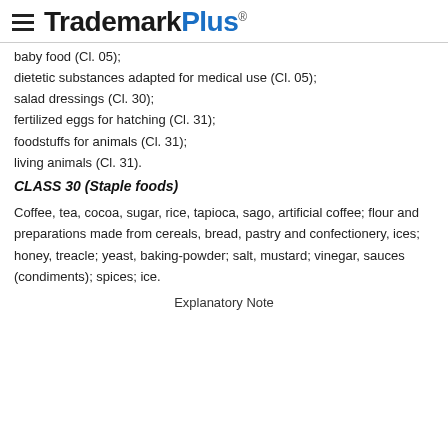TrademarkPlus®
baby food (Cl. 05);
dietetic substances adapted for medical use (Cl. 05);
salad dressings (Cl. 30);
fertilized eggs for hatching (Cl. 31);
foodstuffs for animals (Cl. 31);
living animals (Cl. 31).
CLASS 30 (Staple foods)
Coffee, tea, cocoa, sugar, rice, tapioca, sago, artificial coffee; flour and preparations made from cereals, bread, pastry and confectionery, ices; honey, treacle; yeast, baking-powder; salt, mustard; vinegar, sauces (condiments); spices; ice.
Explanatory Note